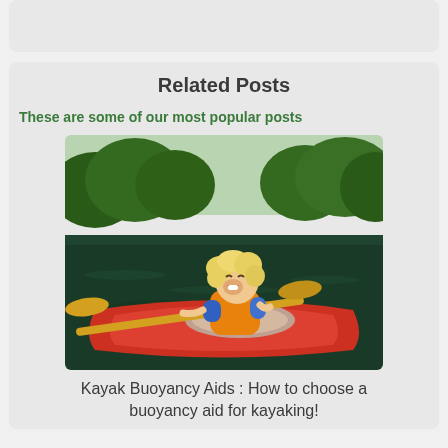Related Posts
These are some of our most popular posts
[Figure (photo): A young child with curly blonde hair laughing joyfully while sitting in a red kayak on a river, wearing an orange life jacket and holding a paddle. Green trees line the riverbank in the background.]
Kayak Buoyancy Aids : How to choose a buoyancy aid for kayaking!